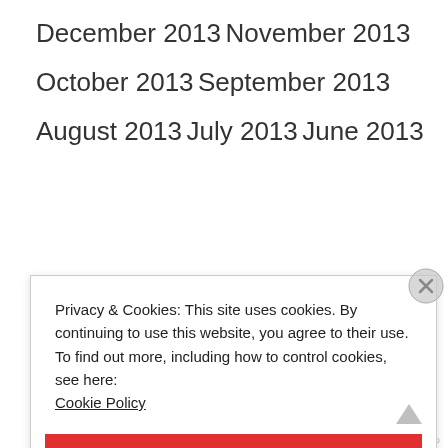December 2013
November 2013
October 2013
September 2013
August 2013
July 2013
June 2013
Privacy & Cookies: This site uses cookies. By continuing to use this website, you agree to their use.
To find out more, including how to control cookies, see here:
Cookie Policy
CLOSE AND ACCEPT